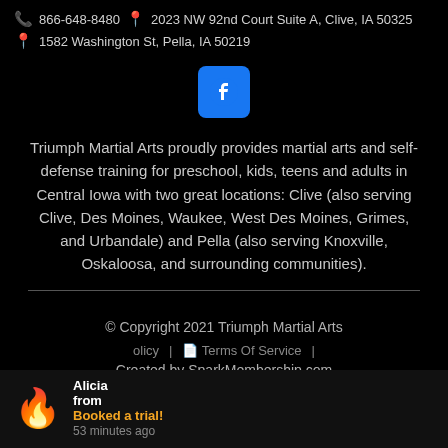866-648-8480  2023 NW 92nd Court Suite A, Clive, IA 50325
1582 Washington St, Pella, IA 50219
[Figure (logo): Facebook icon button (blue rounded square with white f logo)]
Triumph Martial Arts proudly provides martial arts and self-defense training for preschool, kids, teens and adults in Central Iowa with two great locations: Clive (also serving Clive, Des Moines, Waukee, West Des Moines, Grimes, and Urbandale) and Pella (also serving Knoxville, Oskaloosa, and surrounding communities).
© Copyright 2021 Triumph Martial Arts
olicy  |  Terms Of Service  |  Created by SparkMembership.com
Alicia from  Booked a trial!  53 minutes ago